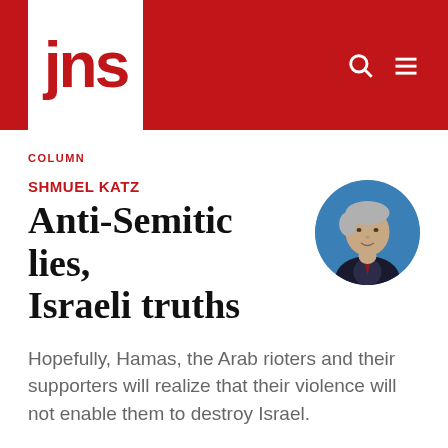jns
COLUMN
Anti-Semitic lies, Israeli truths
SHMUEL KATZ
[Figure (photo): Circular headshot photo of author Shmuel Katz, an older man with gray hair wearing a dark suit and tie, against a blue background.]
Hopefully, Hamas, the Arab rioters and their supporters will realize that their violence will not enable them to destroy Israel.